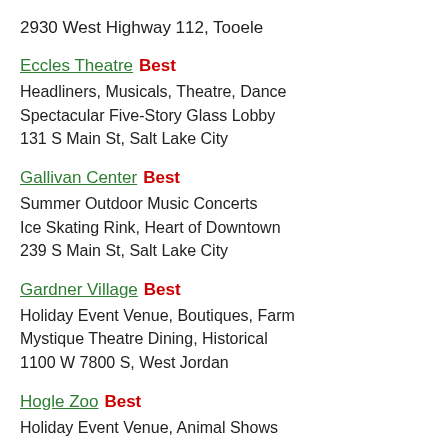2930 West Highway 112, Tooele
Eccles Theatre  Best
Headliners, Musicals, Theatre, Dance
Spectacular Five-Story Glass Lobby
131 S Main St, Salt Lake City
Gallivan Center  Best
Summer Outdoor Music Concerts
Ice Skating Rink, Heart of Downtown
239 S Main St, Salt Lake City
Gardner Village  Best
Holiday Event Venue, Boutiques, Farm
Mystique Theatre Dining, Historical
1100 W 7800 S, West Jordan
Hogle Zoo  Best
Holiday Event Venue, Animal Shows